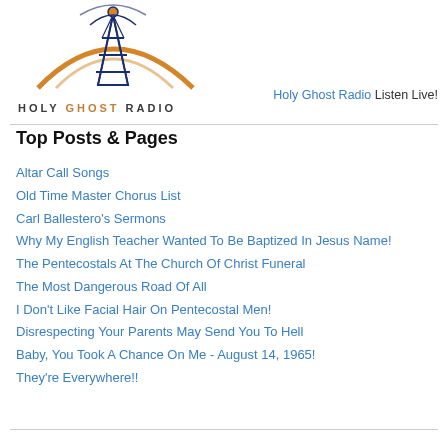[Figure (logo): Holy Ghost Radio logo with antenna tower and orange arc, text reads HOLY GHOST RADIO]
Holy Ghost Radio Listen Live!
Top Posts & Pages
Altar Call Songs
Old Time Master Chorus List
Carl Ballestero's Sermons
Why My English Teacher Wanted To Be Baptized In Jesus Name!
The Pentecostals At The Church Of Christ Funeral
The Most Dangerous Road Of All
I Don't Like Facial Hair On Pentecostal Men!
Disrespecting Your Parents May Send You To Hell
Baby, You Took A Chance On Me - August 14, 1965!
They're Everywhere!!